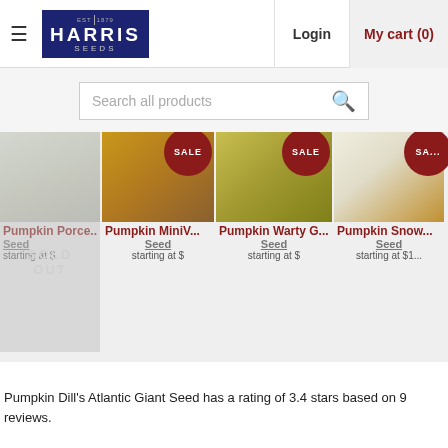[Figure (screenshot): Harris Seeds logo with hamburger menu icon on left, Login and My cart (0) navigation on right]
[Figure (screenshot): Search all products search bar with magnifying glass icon]
[Figure (screenshot): Product listing strip showing Pumpkin Porcela Seed (SOLD OUT), Pumpkin MiniV Seed (SALE), Pumpkin Warty G Seed (SALE), Pumpkin Snow Seed - all with starting at $ prices]
Pumpkin Dill's Atlantic Giant Seed has a rating of 3.4 stars based on 9 reviews.